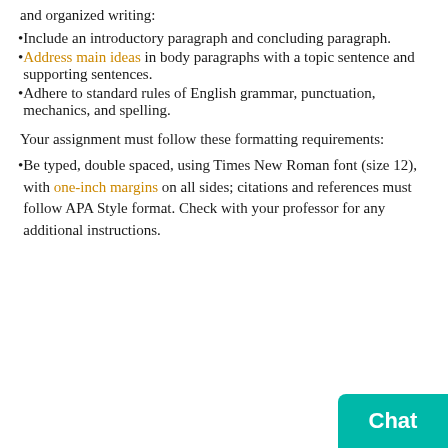and organized writing:
Include an introductory paragraph and concluding paragraph.
Address main ideas in body paragraphs with a topic sentence and supporting sentences.
Adhere to standard rules of English grammar, punctuation, mechanics, and spelling.
Your assignment must follow these formatting requirements:
Be typed, double spaced, using Times New Roman font (size 12), with one-inch margins on all sides; citations and references must follow APA Style format. Check with your professor for any additional instructions.